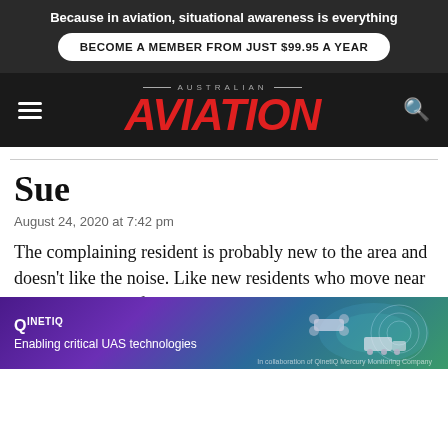Because in aviation, situational awareness is everything
BECOME A MEMBER FROM JUST $99.95 A YEAR
AUSTRALIAN AVIATION
Sue
August 24, 2020 at 7:42 pm
The complaining resident is probably new to the area and doesn't like the noise. Like new residents who move near airports or under flight paths and then complain about the noise. Seriously petty! If it is illegal... but it 30 years ago. What a joke.
[Figure (advertisement): QinetiQ advertisement banner: 'Enabling critical UAS technologies' with purple/blue gradient background and drone/aerial vehicle imagery]